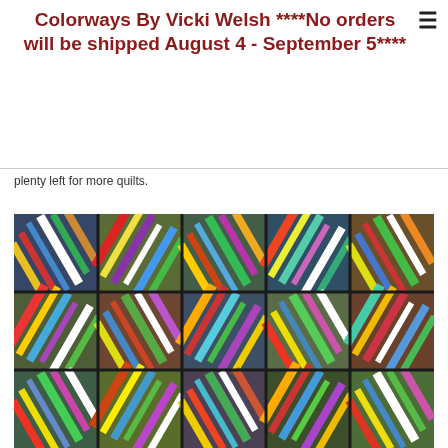Colorways By Vicki Welsh ****No orders will be shipped August 4 - September 5****
plenty left for more quilts.
[Figure (photo): A colorful patchwork quilt with strings/strips of multicolored fabric arranged in a diagonal block pattern, photographed from above.]